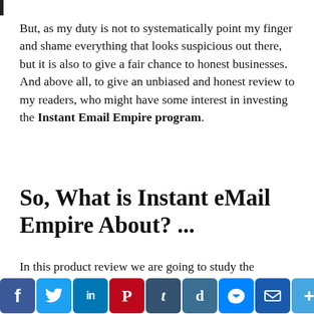But, as my duty is not to systematically point my finger and shame everything that looks suspicious out there, but it is also to give a fair chance to honest businesses. And above all, to give an unbiased and honest review to my readers, who might have some interest in investing the Instant Email Empire program.
So, What is Instant eMail Empire About? ...
In this product review we are going to study the following ...
1 – A brief summary of this program
2 – What is this program about
[Figure (other): Social media share bar with icons for Facebook, Twitter, LinkedIn, Pinterest, Tumblr, Digg, Messenger, Email, and a plus button]
4 – What I like about it